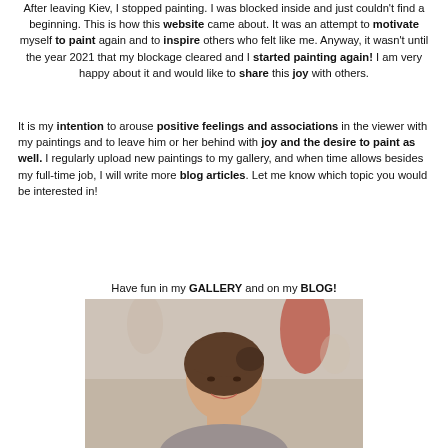After leaving Kiev, I stopped painting. I was blocked inside and just couldn't find a beginning. This is how this website came about. It was an attempt to motivate myself to paint again and to inspire others who felt like me. Anyway, it wasn't until the year 2021 that my blockage cleared and I started painting again! I am very happy about it and would like to share this joy with others.
It is my intention to arouse positive feelings and associations in the viewer with my paintings and to leave him or her behind with joy and the desire to paint as well. I regularly upload new paintings to my gallery, and when time allows besides my full-time job, I will write more blog articles. Let me know which topic you would be interested in!
Have fun in my GALLERY and on my BLOG!
[Figure (photo): Portrait photo of a young woman with dark hair pulled back, smiling, with blurred background showing other people.]